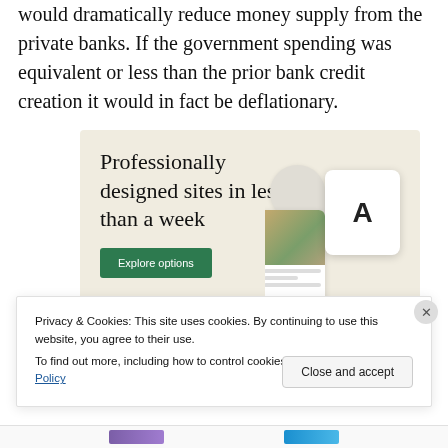would dramatically reduce money supply from the private banks. If the government spending was equivalent or less than the prior bank credit creation it would in fact be deflationary.
[Figure (illustration): Advertisement banner with beige background reading 'Professionally designed sites in less than a week' with a green 'Explore options' button and mockup screenshots of websites on the right side.]
Privacy & Cookies: This site uses cookies. By continuing to use this website, you agree to their use.
To find out more, including how to control cookies, see here: Cookie Policy
Close and accept